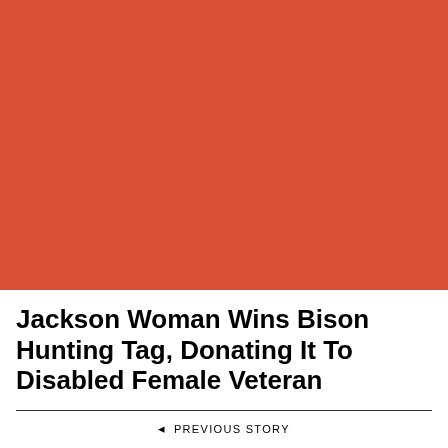[Figure (photo): Large red/terracotta-colored rectangle serving as a placeholder image or background graphic, occupying the top portion of the page.]
Jackson Woman Wins Bison Hunting Tag, Donating It To Disabled Female Veteran
◄ PREVIOUS STORY